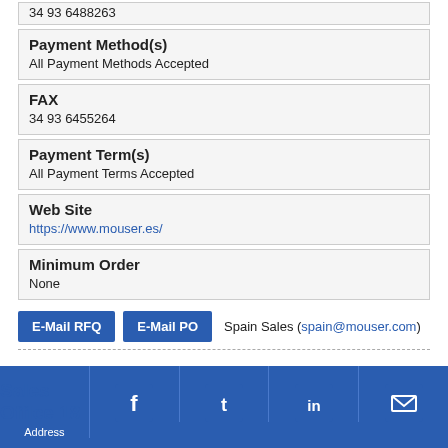34 93 6488263
Payment Method(s)
All Payment Methods Accepted
FAX
34 93 6455264
Payment Term(s)
All Payment Terms Accepted
Web Site
https://www.mouser.es/
Minimum Order
None
E-Mail RFQ   E-Mail PO   Spain Sales (spain@mouser.com)
Sales Office 18
Address